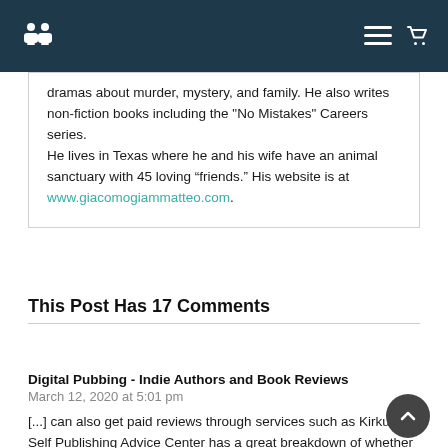dramas about murder, mystery, and family. He also writes non-fiction books including the "No Mistakes" Careers series. He lives in Texas where he and his wife have an animal sanctuary with 45 loving “friends.” His website is at www.giacomogiammatteo.com.
This Post Has 17 Comments
Digital Pubbing - Indie Authors and Book Reviews
March 12, 2020 at 5:01 pm
[...] can also get paid reviews through services such as Kirkus. Self Publishing Advice Center has a great breakdown of whether or not they think Kirkus is worth